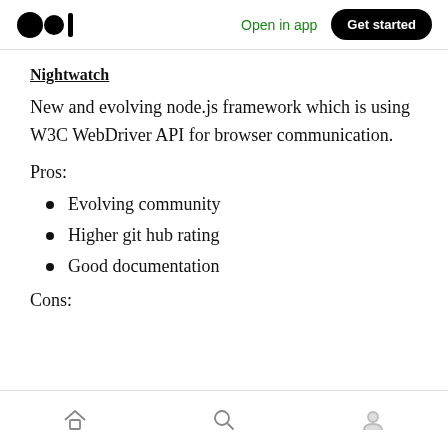Open in app  Get started
Nightwatch
New and evolving node.js framework which is using W3C WebDriver API for browser communication.
Pros:
Evolving community
Higher git hub rating
Good documentation
Cons:
Home  Search  Profile